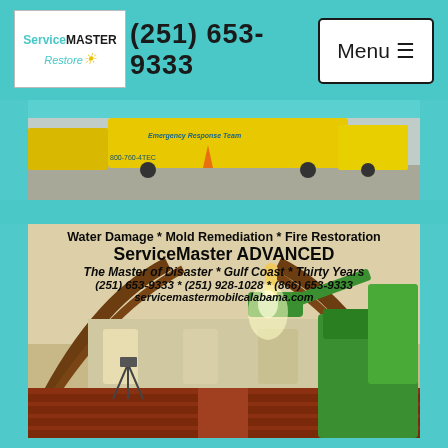(251) 653-9333
[Figure (logo): ServiceMaster Restore logo — white box with teal and black text]
[Figure (photo): Yellow Emergency Response Team trucks parked in a lot]
[Figure (photo): Church interior with green boom lift and worker on platform near ceiling. Overlaid text reads: Water Damage * Mold Remediation * Fire Restoration / ServiceMaster ADVANCED / The Master of Disaster * Gulf Coast * Thirty Years / (251) 653-9333 * (251) 928-1028 * (866) 653-9333 / servicemastermobilcalabama.com]